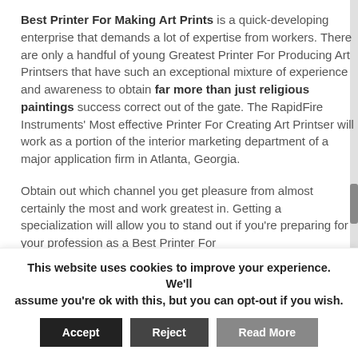Best Printer For Making Art Prints is a quick-developing enterprise that demands a lot of expertise from workers. There are only a handful of young Greatest Printer For Producing Art Printsers that have such an exceptional mixture of experience and awareness to obtain far more than just religious paintings success correct out of the gate. The RapidFire Instruments' Most effective Printer For Creating Art Printser will work as a portion of the interior marketing department of a major application firm in Atlanta, Georgia.
Obtain out which channel you get pleasure from almost certainly the most and work greatest in. Getting a specialization will allow you to stand out if you're preparing for your profession as a Best Printer For
This website uses cookies to improve your experience. We'll assume you're ok with this, but you can opt-out if you wish.